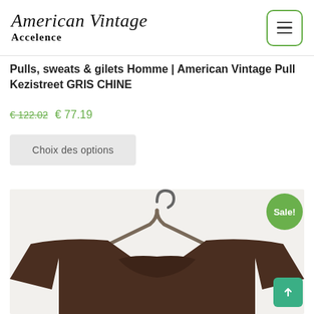American Vintage Accelence
Pulls, sweats & gilets Homme | American Vintage Pull Kezistreet GRIS CHINE
€ 122.02  € 77.19
Choix des options
[Figure (photo): Product photo of a brown knit sweater on a wooden hanger against a light beige background, with a green Sale! badge in the top right corner.]